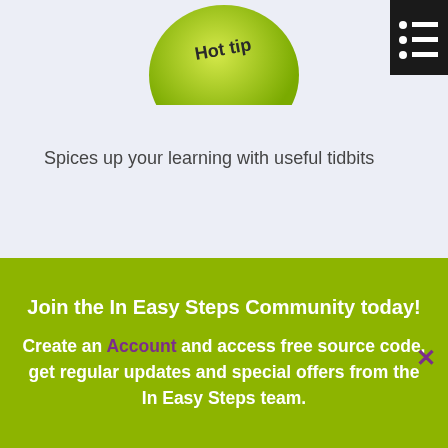[Figure (illustration): Green ball with 'Hot tip' text on top, partially visible at the top center of the page]
[Figure (illustration): Black rectangle with white list/menu icon (lines and dots) in the top right corner]
Spices up your learning with useful tidbits
[Figure (illustration): Purple/pink ball partially visible at the bottom center of the light lavender section]
Join the In Easy Steps Community today!

Create an Account and access free source code, get regular updates and special offers from the In Easy Steps team.